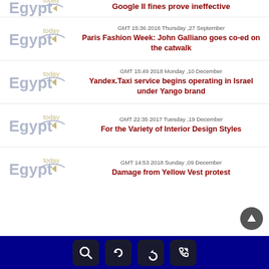[Figure (logo): Egypt Today logo (partial, top-cropped)]
Google II fines prove ineffective
[Figure (logo): Egypt Today logo]
GMT 15:36 2018 Thursday ,27 September
Paris Fashion Week: John Galliano goes co-ed on the catwalk
[Figure (logo): Egypt Today logo]
GMT 15:49 2018 Monday ,10 December
Yandex.Taxi service begins operating in Israel under Yango brand
[Figure (logo): Egypt Today logo]
GMT 22:35 2017 Tuesday ,19 December
For the Variety of Interior Design Styles
[Figure (logo): Egypt Today logo]
GMT 14:53 2018 Sunday ,09 December
Damage from Yellow Vest protest
[Figure (other): Mobile app navigation footer bar with search, refresh, back, and phone icons]